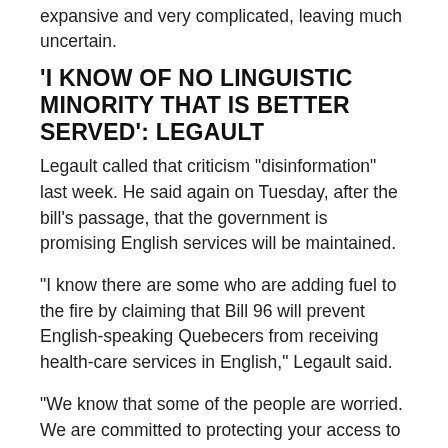expansive and very complicated, leaving much uncertain.
'I KNOW OF NO LINGUISTIC MINORITY THAT IS BETTER SERVED': LEGAULT
Legault called that criticism "disinformation" last week. He said again on Tuesday, after the bill's passage, that the government is promising English services will be maintained.
"I know there are some who are adding fuel to the fire by claiming that Bill 96 will prevent English-speaking Quebecers from receiving health-care services in English," Legault said.
"We know that some of the people are worried. We are committed to protecting your access to health care in English. It is a historical promise